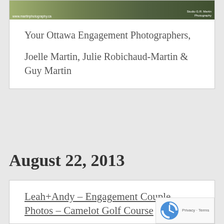[Figure (photo): Photography studio header image showing a couple outdoors with foliage, watermarked with www.martinphotography.ca and Studio G.R. Martin Photography]
Your Ottawa Engagement Photographers,
Joelle Martin, Julie Robichaud-Martin & Guy Martin
August 22, 2013
Leah+Andy – Engagement Couple Photos – Camelot Golf Course
We've been photographing Leah since she